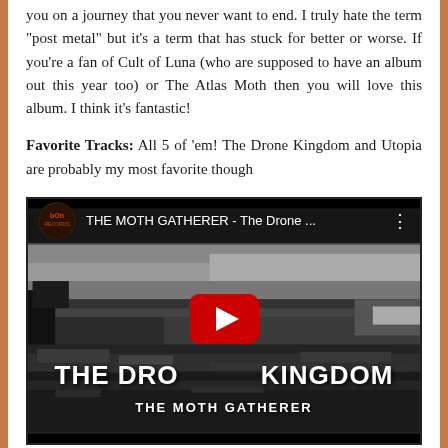you on a journey that you never want to end. I truly hate the term "post metal" but it's a term that has stuck for better or worse. If you're a fan of Cult of Luna (who are supposed to have an album out this year too) or The Atlas Moth then you will love this album. I think it's fantastic!
Favorite Tracks: All 5 of 'em! The Drone Kingdom and Utopia are probably my most favorite though
[Figure (screenshot): YouTube video embed showing THE MOTH GATHERER - The Drone ... with a black and white landscape image. The video title 'THE DRONE KINGDOM' is displayed in large white bold text with 'THE MOTH GATHERER' below it. A red YouTube play button is centered over the image.]